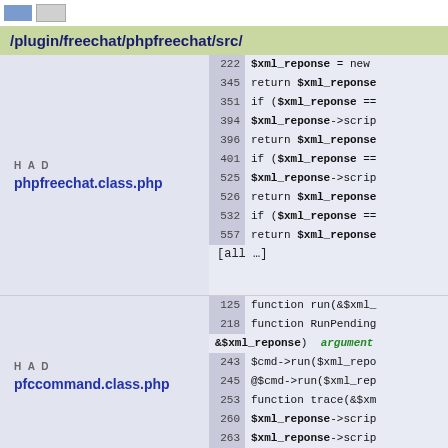/plugin/freechat/phpfreechat/src/
phpfreechat.class.php — HAD — lines: 222 $xml_reponse = new, 345 return $xml_reponse, 351 if ($xml_reponse ==, 394 $xml_reponse->scrip, 396 return $xml_reponse, 401 if ($xml_reponse ==, 525 $xml_reponse->scrip, 526 return $xml_reponse, 532 if ($xml_reponse ==, 557 return $xml_reponse, [all …]
pfccommand.class.php — HAD — lines: 125 function run(&$xml_, 218 function RunPending &$xml_reponse) argument, 243 $cmd->run($xml_repo, 245 @$cmd->run($xml_rep, 253 function trace(&$xm, 260 $xml_reponse->scrip, 263 $xml_reponse->scrip
/plugin/freechat/phpfreechat/src/commands/
7 function run(&$xml_, 27 $cmd->run($xml_repo, 30 ...